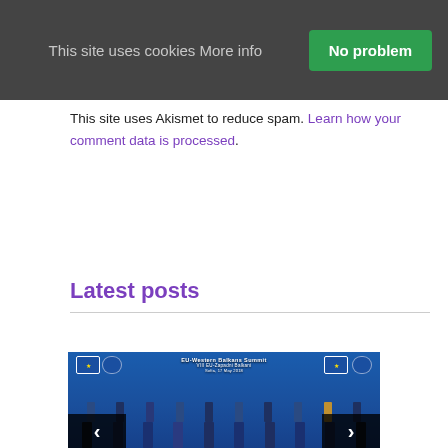This site uses cookies More info
No problem
This site uses Akismet to reduce spam. Learn how your comment data is processed.
Latest posts
[Figure (photo): Group photo of officials at the EU-Western Balkans Summit (VIII EU-Zapadni Balkani), showing approximately 20-25 leaders and officials standing in front of a blue backdrop with EU logos.]